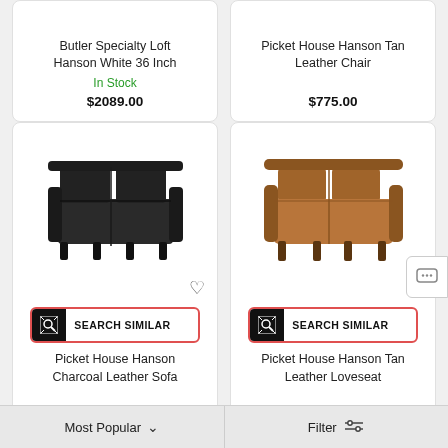Butler Specialty Loft Hanson White 36 Inch
In Stock
$2089.00
Picket House Hanson Tan Leather Chair
$775.00
[Figure (photo): Black leather sofa - Picket House Hanson Charcoal Leather Sofa]
SEARCH SIMILAR
Picket House Hanson Charcoal Leather Sofa
$1303.34
[Figure (photo): Tan/brown leather loveseat - Picket House Hanson Tan Leather Loveseat]
SEARCH SIMILAR
Picket House Hanson Tan Leather Loveseat
$1034.97
Most Popular
Filter